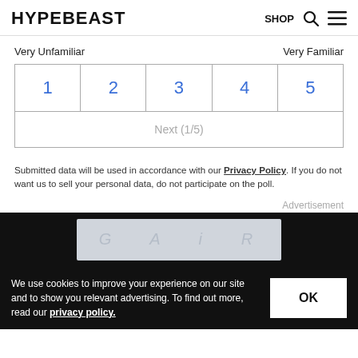HYPEBEAST | SHOP
Very Unfamiliar — Very Familiar
| 1 | 2 | 3 | 4 | 5 |
| --- | --- | --- | --- | --- |
Next (1/5)
Submitted data will be used in accordance with our Privacy Policy. If you do not want us to sell your personal data, do not participate on the poll.
Advertisement
[Figure (photo): Advertisement banner with text 'G A I R' on a light gray background with dark surroundings]
We use cookies to improve your experience on our site and to show you relevant advertising. To find out more, read our privacy policy.